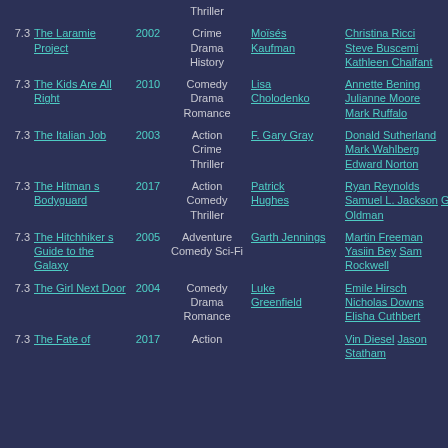| Rating | Title | Year | Genre | Director | Cast |
| --- | --- | --- | --- | --- | --- |
|  |  |  | Thriller |  |  |
| 7.3 | The Laramie Project | 2002 | Crime Drama History | Moïsés Kaufman | Christina Ricci Steve Buscemi Kathleen Chalfant |
| 7.3 | The Kids Are All Right | 2010 | Comedy Drama Romance | Lisa Cholodenko | Annette Bening Julianne Moore Mark Ruffalo |
| 7.3 | The Italian Job | 2003 | Action Crime Thriller | F. Gary Gray | Donald Sutherland Mark Wahlberg Edward Norton |
| 7.3 | The Hitman s Bodyguard | 2017 | Action Comedy Thriller | Patrick Hughes | Ryan Reynolds Samuel L. Jackson Gary Oldman |
| 7.3 | The Hitchhiker s Guide to the Galaxy | 2005 | Adventure Comedy Sci-Fi | Garth Jennings | Martin Freeman Yasiin Bey Sam Rockwell |
| 7.3 | The Girl Next Door | 2004 | Comedy Drama Romance | Luke Greenfield | Emile Hirsch Nicholas Downs Elisha Cuthbert |
| 7.3 | The Fate of | 2017 | Action |  | Vin Diesel Jason Statham |